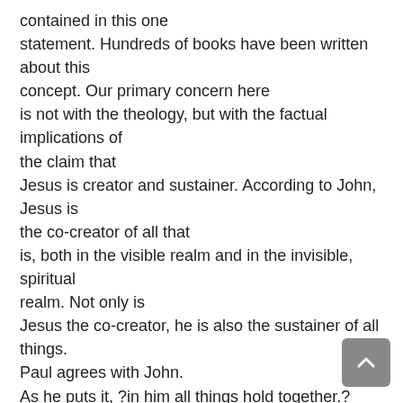contained in this one statement.  Hundreds of books have been written about this concept.   Our primary concern here is not with the theology, but with the factual implications of the claim that Jesus is creator and sustainer.   According to John, Jesus is the co-creator of all that is, both in the visible realm and in the invisible, spiritual realm.  Not only is Jesus the co-creator, he is also the sustainer of all things.  Paul agrees with John. As he puts it, ?in him all things hold together.? (Colossians 1:17).  Jesus ?sustains all things by his powerful word.? (Hebrews 1:3).  If John and Paul are right, then without the divine intervention of Jesus, the physical world would somehow simply fall apart.  Paul continues to say that Jesus is the visible image (Colossians 1: